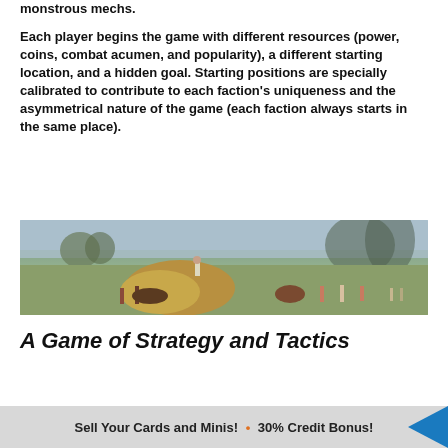monstrous mechs.
Each player begins the game with different resources (power, coins, combat acumen, and popularity), a different starting location, and a hidden goal. Starting positions are specially calibrated to contribute to each faction's uniqueness and the asymmetrical nature of the game (each faction always starts in the same place).
[Figure (photo): Panoramic landscape painting showing farmworkers in a field with haystacks, cattle, and misty trees in the background with large shadowy figures]
A Game of Strategy and Tactics
Sell Your Cards and Minis! • 30% Credit Bonus!